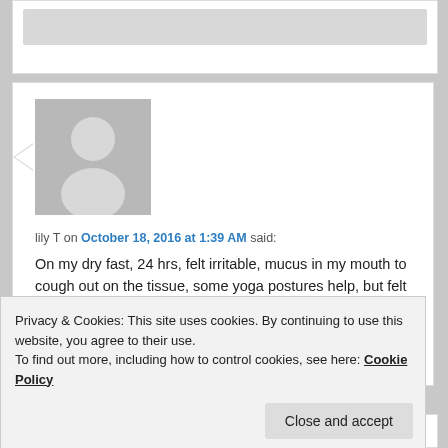[Figure (screenshot): Top portion of a previous comment stub, showing a gray placeholder bar]
lily T on October 18, 2016 at 1:39 AM said:
[Figure (photo): Gray silhouette avatar placeholder image for user lily T]
On my dry fast, 24 hrs, felt irritable, mucus in my mouth to cough out on the tissue, some yoga postures help, but felt energy came back started on 36 hrs, will continue till 48 hrs, but not sure if confident to dry fast 72 hr. 2 times waterfast few years back. Recent 2 weeks began raw foods diet
Privacy & Cookies: This site uses cookies. By continuing to use this website, you agree to their use.
To find out more, including how to control cookies, see here: Cookie Policy
Close and accept
like wine tasting, savoy every drop of clean spring